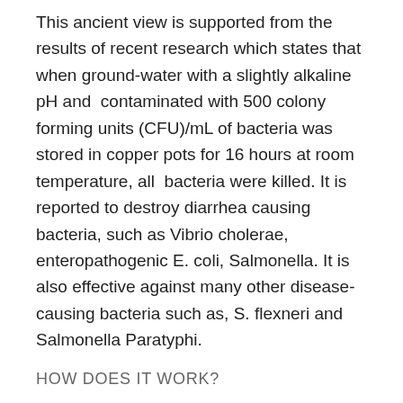This ancient view is supported from the results of recent research which states that when ground-water with a slightly alkaline pH and contaminated with 500 colony forming units (CFU)/mL of bacteria was stored in copper pots for 16 hours at room temperature, all bacteria were killed. It is reported to destroy diarrhea causing bacteria, such as Vibrio cholerae, enteropathogenic E. coli, Salmonella. It is also effective against many other disease-causing bacteria such as, S. flexneri and Salmonella Paratyphi.
HOW DOES IT WORK?
When water is stored in a copper vessel for about 16 hours, copper, in very small quantities gets dissolved in water. This process, known in scientific parlance as